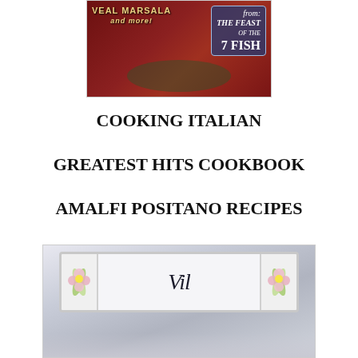[Figure (photo): Book cover image with red background showing text 'VEAL MARSALA and more!' and 'from: THE FEAST OF THE 7 FISH' on a blue banner]
COOKING ITALIAN
GREATEST HITS COOKBOOK
AMALFI POSITANO RECIPES
CAPRI NAPOLI and More …
[Figure (photo): Photo of decorative tiles with pink daisy/flower designs in corners and cursive script text starting with 'Vi' or 'Vil']